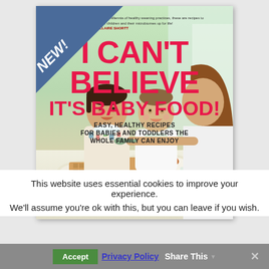[Figure (photo): Book cover for 'I Can't Believe It's Baby Food!' with a NEW! ribbon banner in top-left corner. The cover shows two toddlers and a woman eating at a table with colorful foods. Title in large pink/red text, subtitle in black text below.]
This website uses essential cookies to improve your experience.
We'll assume you're ok with this, but you can leave if you wish.
Accept   Privacy Policy   Share This   ✕